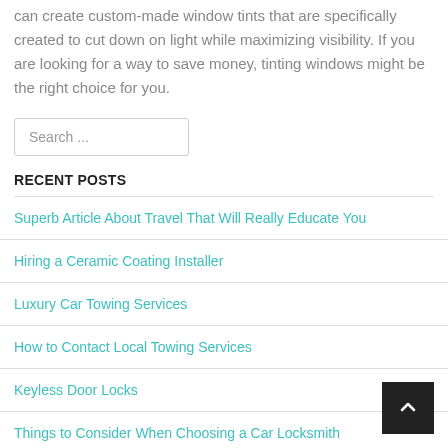can create custom-made window tints that are specifically created to cut down on light while maximizing visibility. If you are looking for a way to save money, tinting windows might be the right choice for you.
Search ...
RECENT POSTS
Superb Article About Travel That Will Really Educate You
Hiring a Ceramic Coating Installer
Luxury Car Towing Services
How to Contact Local Towing Services
Keyless Door Locks
Things to Consider When Choosing a Car Locksmith
Aquarium Maintenance Services and Tips